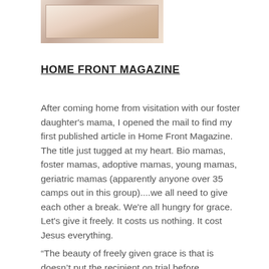[Figure (photo): A photograph of a baby or infant lying on what appears to be printed pages or a magazine, partially visible at the top of the page.]
HOME FRONT MAGAZINE
After coming home from visitation with our foster daughter's mama, I opened the mail to find my first published article in Home Front Magazine. The title just tugged at my heart. Bio mamas, foster mamas, adoptive mamas, young mamas, geriatric mamas (apparently anyone over 35 camps out in this group)....we all need to give each other a break. We're all hungry for grace. Let's give it freely. It costs us nothing. It cost Jesus everything.
“The beauty of freely given grace is that is doesn’t put the recipient on trial before